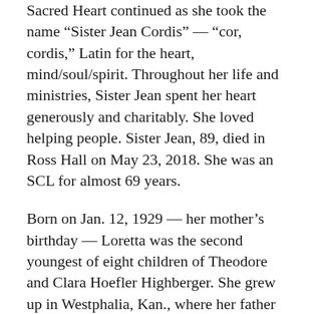Sacred Heart continued as she took the name “Sister Jean Cordis” — “cor, cordis,” Latin for the heart, mind/soul/spirit. Throughout her life and ministries, Sister Jean spent her heart generously and charitably. She loved helping people. Sister Jean, 89, died in Ross Hall on May 23, 2018. She was an SCL for almost 69 years.
Born on Jan. 12, 1929 — her mother’s birthday — Loretta was the second youngest of eight children of Theodore and Clara Hoefler Highberger. She grew up in Westphalia, Kan., where her father farmed. Their home lacked running water and electricity, but the family had good, wholesome fun. As a student, Loretta had a competitive streak. She was the county spelling champion and class salutatorian. She didn’t want to be a Sister or a